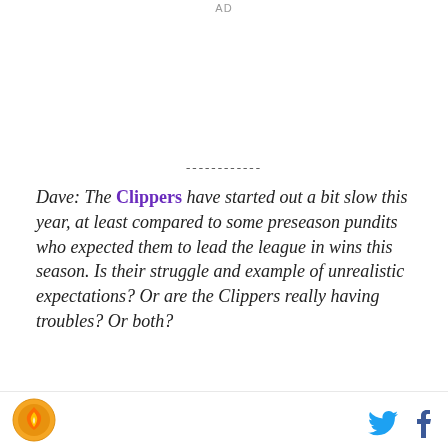AD
------------
Dave: The Clippers have started out a bit slow this year, at least compared to some preseason pundits who expected them to lead the league in wins this season. Is their struggle and example of unrealistic expectations? Or are the Clippers really having troubles? Or both?
ClipsNation's FlybyKnite: I think it's two fold. I think